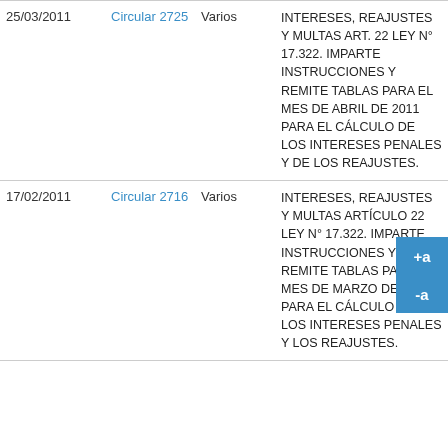| Fecha | Tipo | Materia | Descripción |
| --- | --- | --- | --- |
| 25/03/2011 | Circular 2725 | Varios | INTERESES, REAJUSTES Y MULTAS ART. 22 LEY N° 17.322. IMPARTE INSTRUCCIONES Y REMITE TABLAS PARA EL MES DE ABRIL DE 2011 PARA EL CÁLCULO DE LOS INTERESES PENALES Y DE LOS REAJUSTES. |
| 17/02/2011 | Circular 2716 | Varios | INTERESES, REAJUSTES Y MULTAS ARTÍCULO 22 LEY N° 17.322. IMPARTE INSTRUCCIONES Y REMITE TABLAS PARA EL MES DE MARZO DE 2011 PARA EL CÁLCULO DE LOS INTERESES PENALES Y LOS REAJUSTES. |